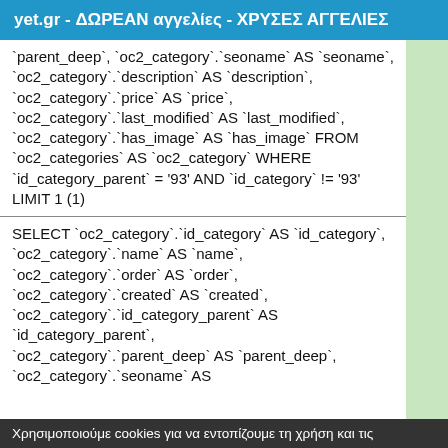yet.gr - ΔΩΡΕΑΝ αγγελίες - ΧΡΥΣΕΣ ΑΓΓΕΛΙΕΣ
`parent_deep`, `oc2_category`.`seoname` AS `seoname`, `oc2_category`.`description` AS `description`, `oc2_category`.`price` AS `price`, `oc2_category`.`last_modified` AS `last_modified`, `oc2_category`.`has_image` AS `has_image` FROM `oc2_categories` AS `oc2_category` WHERE `id_category_parent` = '93' AND `id_category` != '93' LIMIT 1 (1)
SELECT `oc2_category`.`id_category` AS `id_category`, `oc2_category`.`name` AS `name`, `oc2_category`.`order` AS `order`, `oc2_category`.`created` AS `created`, `oc2_category`.`id_category_parent` AS `id_category_parent`, `oc2_category`.`parent_deep` AS `parent_deep`, `oc2_category`.`seoname` AS
Χρησιμοποιούμε cookies για να εντοπίζουμε τη χρήση και τις